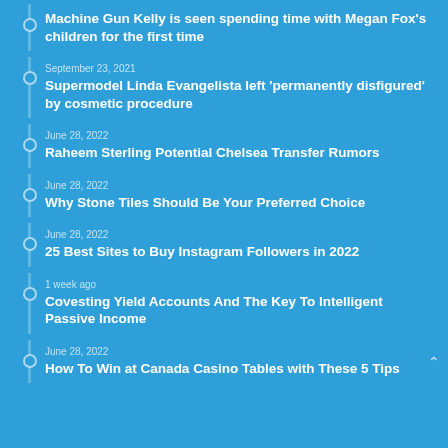Machine Gun Kelly is seen spending time with Megan Fox's children for the first time
September 23, 2021 — Supermodel Linda Evangelista left 'permanently disfigured' by cosmetic procedure
June 28, 2022 — Raheem Sterling Potential Chelsea Transfer Rumors
June 28, 2022 — Why Stone Tiles Should Be Your Preferred Choice
June 28, 2022 — 25 Best Sites to Buy Instagram Followers in 2022
1 week ago — Covesting Yield Accounts And The Key To Intelligent Passive Income
June 28, 2022 — How To Win at Canada Casino Tables with These 5 Tips